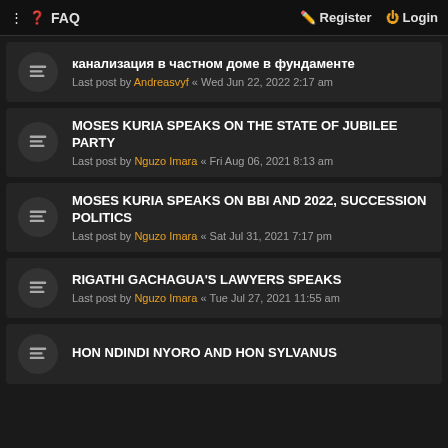FAQ | Register Login
канализация в частном доме в фундаменте
Last post by Andreasvyf « Wed Jun 22, 2022 2:17 am
MOSES KURIA SPEAKS ON THE STATE OF JUBILEE PARTY
Last post by Nguzo Imara « Fri Aug 06, 2021 8:13 am
MOSES KURIA SPEAKS ON BBI AND 2022, SUCCESSION POLITICS
Last post by Nguzo Imara « Sat Jul 31, 2021 7:17 pm
RIGATHI GACHAGUA'S LAWYERS SPEAKS
Last post by Nguzo Imara « Tue Jul 27, 2021 11:55 am
HON NDINDI NYORO AND HON SYLVANUS